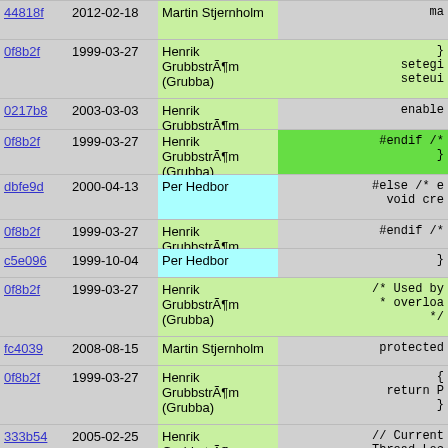| hash | date | author | code |
| --- | --- | --- | --- |
| 44818f | 2012-02-18 | Martin Stjernholm | ma |
| 0f8b2f | 1999-03-27 | Henrik GrubbstrÃ¶m (Grubba) | }
  setegi
  seteui |
| 0217b8 | 2003-03-03 | Henrik GrubbstrÃ¶m (Grubba) | enable |
| 0f8b2f | 1999-03-27 | Henrik GrubbstrÃ¶m (Grubba) | #endif /*
  } |
| dbfe9d | 2000-04-13 | Per Hedbor | #else /* e
  void cre |
| 0f8b2f | 1999-03-27 | Henrik GrubbstrÃ¶m (Grubba) | #endif /* |
| c5e096 | 1999-10-04 | Per Hedbor | } |
| 0f8b2f | 1999-03-27 | Henrik GrubbstrÃ¶m (Grubba) | /* Used by
 * overloa
 */ |
| fc4039 | 2008-08-15 | Martin Stjernholm | protected |
| 0f8b2f | 1999-03-27 | Henrik GrubbstrÃ¶m (Grubba) | {
  return P
} |
| 333b54 | 2005-02-25 | Henrik GrubbstrÃ¶m (Grubba) | // Current
Thread.Loc |